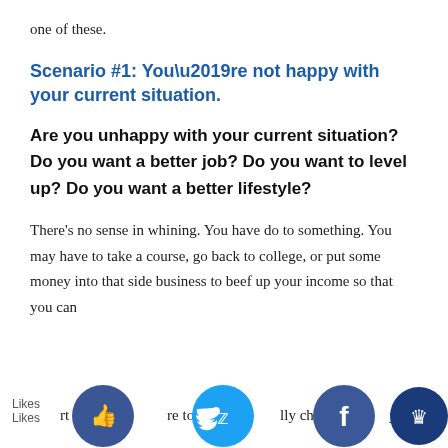one of these.
Scenario #1: You’re not happy with your current situation.
Are you unhappy with your current situation? Do you want a better job? Do you want to level up? Do you want a better lifestyle?
There’s no sense in whining. You have do to something. You may have to take a course, go back to college, or put some money into that side business to beef up your income so that you can start saving more to eventually change your
[Figure (other): Social media share buttons bar at the bottom: thumbs-up like button (dark blue), Twitter bird button (light blue), Facebook f button (dark blue), crown button (dark navy). Likes label on the left.]